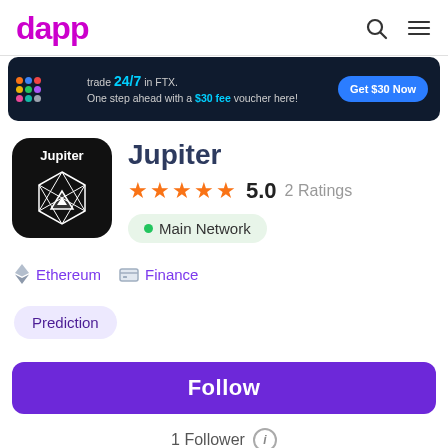dapp
[Figure (screenshot): Advertisement banner: trade 24/7 in FTX. One step ahead with a $30 fee voucher here! Get $30 Now]
Jupiter
5.0  2 Ratings
• Main Network
Ethereum  Finance
Prediction
Follow
1 Follower